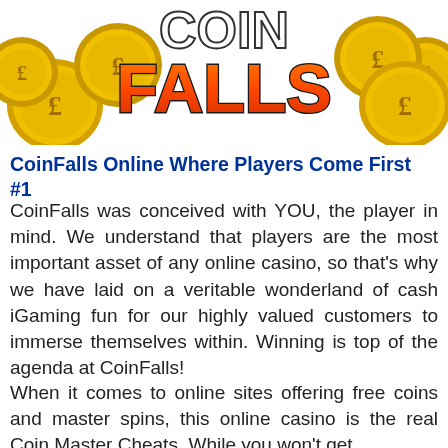[Figure (logo): CoinFalls logo with gold coins and bold FALLS text in orange/black gradient]
CoinFalls Online Where Players Come First #1
CoinFalls was conceived with YOU, the player in mind. We understand that players are the most important asset of any online casino, so that's why we have laid on a veritable wonderland of cash iGaming fun for our highly valued customers to immerse themselves within. Winning is top of the agenda at CoinFalls!
When it comes to online sites offering free coins and master spins, this online casino is the real Coin Master Cheats. While you won't get